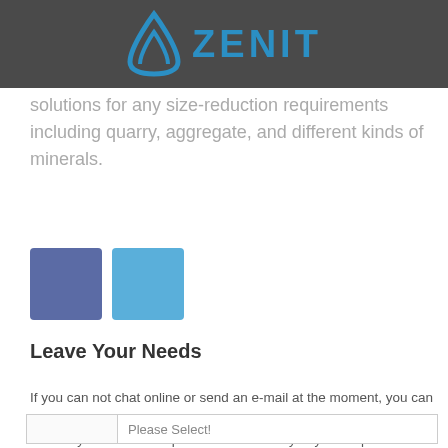ZENIT
solutions for any size-reduction requirements including quarry, aggregate, and different kinds of minerals.
[Figure (illustration): Two social media icon buttons: a dark blue/purple square and a lighter blue square]
Leave Your Needs
If you can not chat online or send an e-mail at the moment, you can fill out the following form, leaving your contact information, we will contact you as soon as possible to meet any of your requirements!
|  | Please Select! |
| --- | --- |